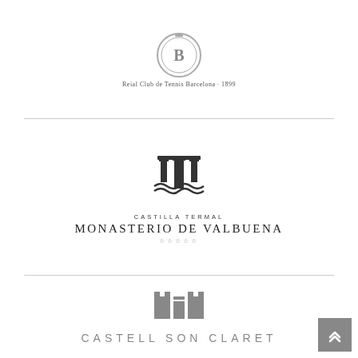[Figure (logo): Reial Club de Tennis Barcelona 1899 circular emblem logo with 'B' monogram]
[Figure (logo): Castilla Termal Monasterio de Valbuena five-star hotel logo with pillar/column graphic mark]
[Figure (logo): Castell Son Claret logo with castle/building graphic mark in grey]